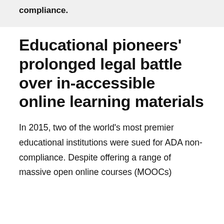compliance.
Educational pioneers' prolonged legal battle over in-accessible online learning materials
In 2015, two of the world's most premier educational institutions were sued for ADA non-compliance. Despite offering a range of massive open online courses (MOOCs)